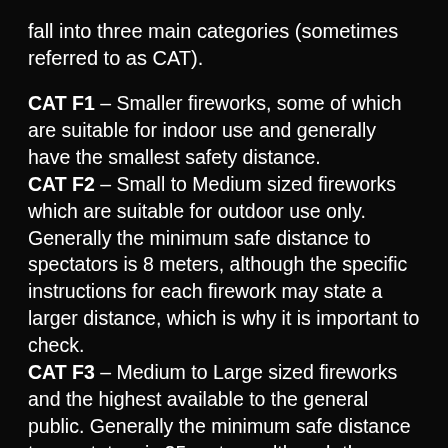fall into three main categories (sometimes referred to as CAT).
CAT F1 – Smaller fireworks, some of which are suitable for indoor use and generally have the smallest safety distance. CAT F2 – Small to Medium sized fireworks which are suitable for outdoor use only. Generally the minimum safe distance to spectators is 8 meters, although the specific instructions for each firework may state a larger distance, which is why it is important to check. CAT F3 – Medium to Large sized fireworks and the highest available to the general public. Generally the minimum safe distance to spectators is 25 meters, although the specific instructions for each firework may state a larger distance, which is why it is important to check.
MISUSE OF FIREWORKS, YOU COULD BE FINED AND PROSECUTED